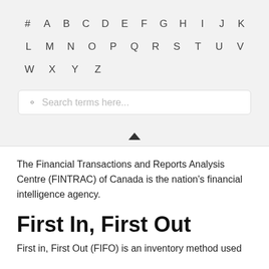# A B C D E F G H I J K L M N O P Q R S T U V W X Y Z
[Figure (other): Search box with placeholder text 'Search terms here...' and a search icon]
The Financial Transactions and Reports Analysis Centre (FINTRAC) of Canada is the nation's financial intelligence agency.
First In, First Out
First in, First Out (FIFO) is an inventory method used